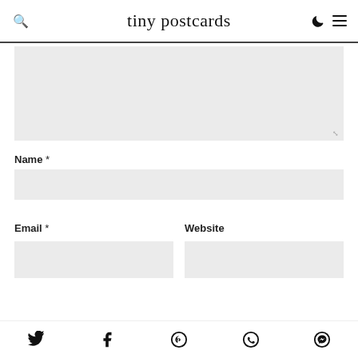tiny postcards
[Figure (other): Comment textarea input box (empty, light gray background) with resize handle indicator at bottom right]
Name *
[Figure (other): Name input field (empty, light gray background)]
Email *
Website
[Figure (other): Email input field (empty, light gray background)]
[Figure (other): Website input field (empty, light gray background)]
Social share icons: Twitter, Facebook, Pinterest, WhatsApp, Messenger